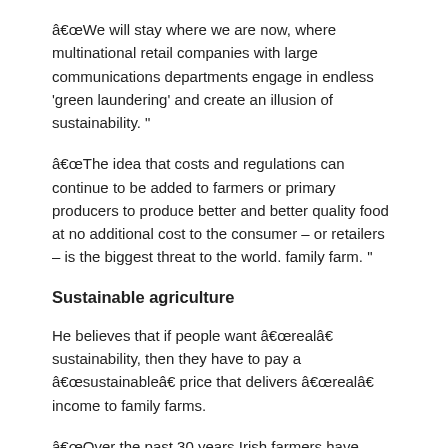“We will stay where we are now, where multinational retail companies with large communications departments engage in endless ‘green laundering’ and create an illusion of sustainability. ”
“The idea that costs and regulations can continue to be added to farmers or primary producers to produce better and better quality food at no additional cost to the consumer – or retailers – is the biggest threat to the world. family farm. ”
Sustainable agriculture
He believes that if people want “real” sustainability, then they have to pay a “sustainable” price that delivers “real” income to family farms.
“Over the past 30 years Irish farmers have been systematically underpaid for the high quality food they produce. They have effectively subsidized both retail businesses and consumers. ”